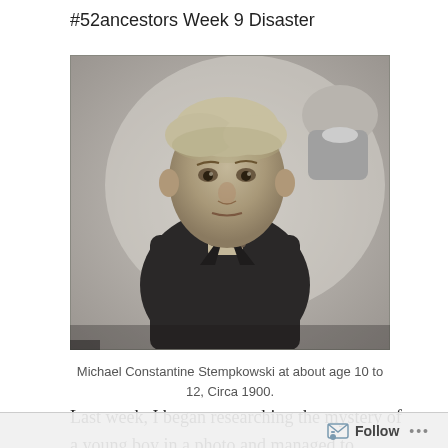#52ancestors Week 9 Disaster
[Figure (photo): Black and white photograph of a young boy (Michael Constantine Stempkowski) at about age 10 to 12, Circa 1900, wearing a dark jacket and bow tie, with another figure partially visible in the upper right background.]
Michael Constantine Stempkowski at about age 10 to 12, Circa 1900.
Last week, I began researching the mystery of a young boy in a photo and managed to identify him as the
Follow ...